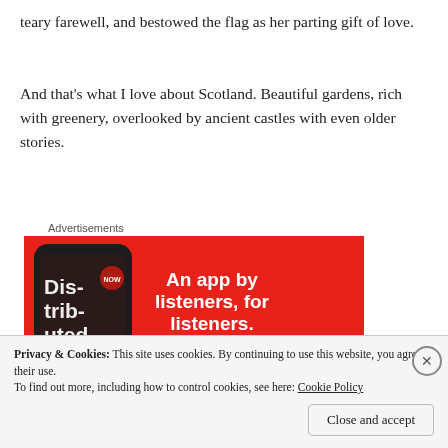teary farewell, and bestowed the flag as her parting gift of love.
And that's what I love about Scotland. Beautiful gardens, rich with greenery, overlooked by ancient castles with even older stories.
Advertisements
[Figure (infographic): Red advertisement banner for a podcast app showing a smartphone with 'Distributed' podcast and text 'An app by listeners, for listeners.' with a 'Download now' button.]
Privacy & Cookies: This site uses cookies. By continuing to use this website, you agree to their use.
To find out more, including how to control cookies, see here: Cookie Policy
Close and accept